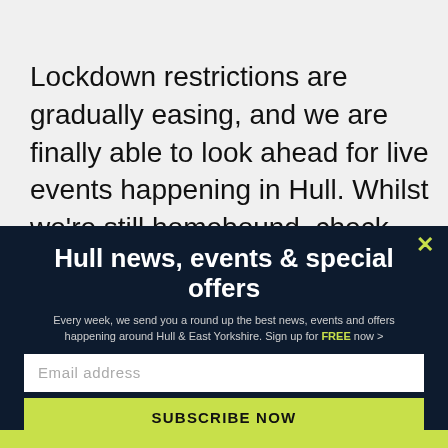Lockdown restrictions are gradually easing, and we are finally able to look ahead for live events happening in Hull. Whilst we're still homebound, check out some of the online events available to help keep you entertained this week...
Hull news, events & special offers
Every week, we send you a round up the best news, events and offers happening around Hull & East Yorkshire. Sign up for FREE now >
Email address
SUBSCRIBE NOW